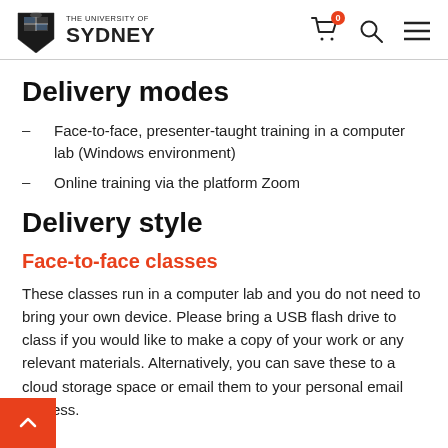The University of Sydney — navigation header with logo, cart (0), search, and menu icons
Delivery modes
Face-to-face, presenter-taught training in a computer lab (Windows environment)
Online training via the platform Zoom
Delivery style
Face-to-face classes
These classes run in a computer lab and you do not need to bring your own device. Please bring a USB flash drive to class if you would like to make a copy of your work or any relevant materials. Alternatively, you can save these to a cloud storage space or email them to your personal email address.